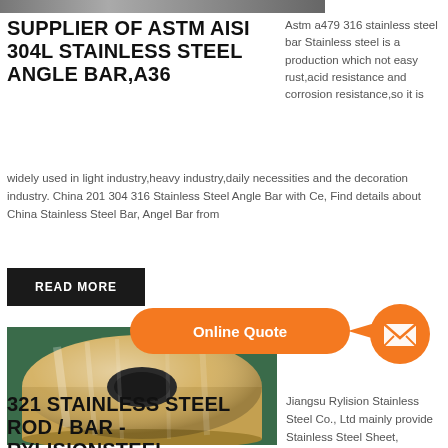[Figure (photo): Top cropped image of stainless steel angle bar product]
SUPPLIER OF ASTM AISI 304L STAINLESS STEEL ANGLE BAR,A36
Astm a479 316 stainless steel bar Stainless steel is a production which not easy rust,acid resistance and corrosion resistance,so it is widely used in light industry,heavy industry,daily necessities and the decoration industry. China 201 304 316 Stainless Steel Angle Bar with Ce, Find details about China Stainless Steel Bar, Angel Bar from
READ MORE
[Figure (photo): Large yellow/gold stainless steel coil roll product photo]
[Figure (infographic): Orange Online Quote speech bubble with arrow pointing to orange email circle icon]
321 STAINLESS STEEL ROD / BAR - RYLISIONSTEEL
Jiangsu Rylision Stainless Steel Co., Ltd mainly provide Stainless Steel Sheet, Stainless Steel Roll,